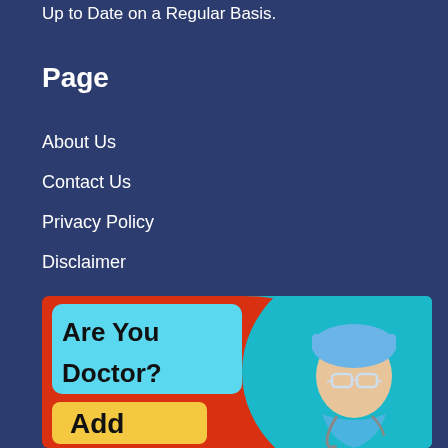Up to Date on a Regular Basis.
Page
About Us
Contact Us
Privacy Policy
Disclaimer
[Figure (illustration): Advertisement banner with red background. Left side has a cyan text box reading 'Are You Doctor?' in bold black text, and below it a yellow box with 'Add' in bold black. Right side shows a teal/cyan area with an illustration of a female doctor wearing blue surgical cap, glasses, and stethoscope.]